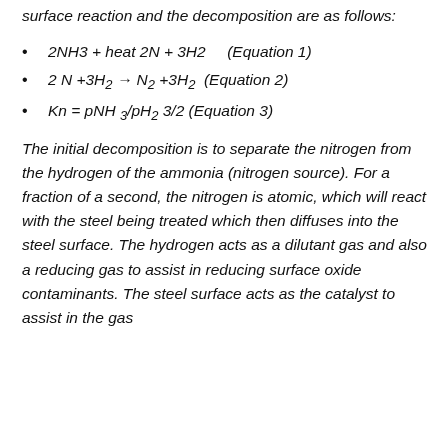surface reaction and the decomposition are as follows:
2NH3 + heat 2N + 3H2    (Equation 1)
2 N +3H₂ → N₂ +3H₂  (Equation 2)
Kn = pNH ₃/pH₂ 3/2 (Equation 3)
The initial decomposition is to separate the nitrogen from the hydrogen of the ammonia (nitrogen source). For a fraction of a second, the nitrogen is atomic, which will react with the steel being treated which then diffuses into the steel surface. The hydrogen acts as a dilutant gas and also a reducing gas to assist in reducing surface oxide contaminants. The steel surface acts as the catalyst to assist in the gas